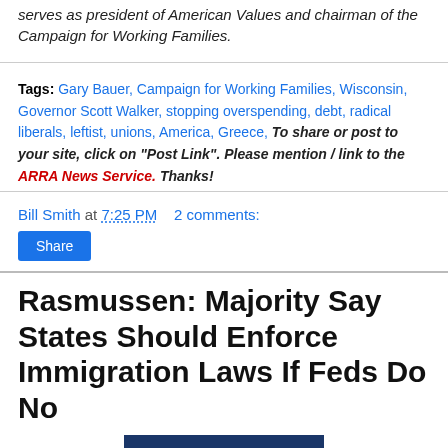serves as president of American Values and chairman of the Campaign for Working Families.
Tags: Gary Bauer, Campaign for Working Families, Wisconsin, Governor Scott Walker, stopping overspending, debt, radical liberals, leftist, unions, America, Greece, To share or post to your site, click on "Post Link". Please mention / link to the ARRA News Service. Thanks!
Bill Smith at 7:25 PM    2 comments:
Share
Rasmussen: Majority Say States Should Enforce Immigration Laws If Feds Do No
[Figure (logo): Rasmussen Reports logo — dark navy blue background with 'RASMUSSEN' in large white bold serif text and 'REPORTS' in smaller white spaced capitals below a horizontal white line]